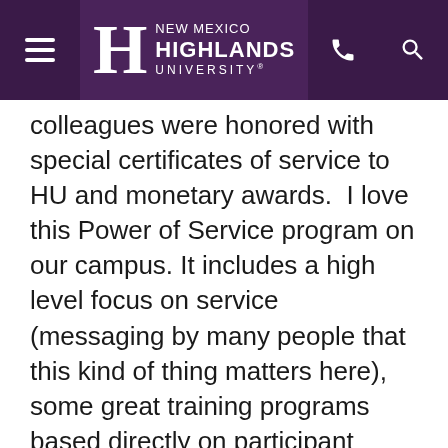[Figure (logo): New Mexico Highlands University header with purple background, hamburger menu icon on left, NMHU logo in center, phone and search icons on right]
colleagues were honored with special certificates of service to HU and monetary awards.  I love this Power of Service program on our campus. It includes a high level focus on service (messaging by many people that this kind of thing matters here), some great training programs based directly on participant interests and needs, and thanks to the generosity of HU Advancement, an incentive program (cash awards for participation in the